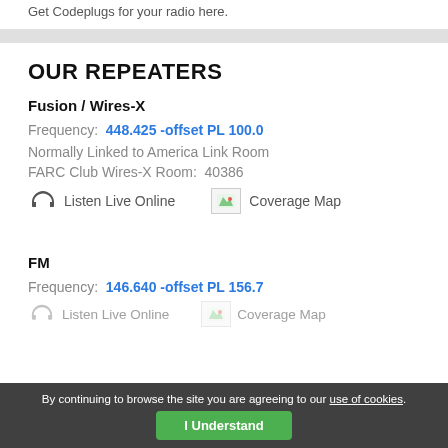Get Codeplugs for your radio here.
OUR REPEATERS
Fusion / Wires-X
Frequency:  448.425 -offset PL 100.0
Normally Linked to America Link Room
FARC Club Wires-X Room: 40386
Listen Live Online   Coverage Map
FM
Frequency:  146.640 -offset PL 156.7
Listen Live Online   Coverage Map
By continuing to browse the site you are agreeing to our use of cookies. I Understand